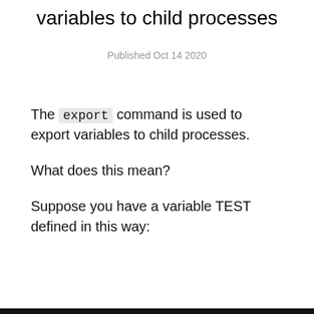variables to child processes
Published Oct 14 2020
The export command is used to export variables to child processes.
What does this mean?
Suppose you have a variable TEST defined in this way: